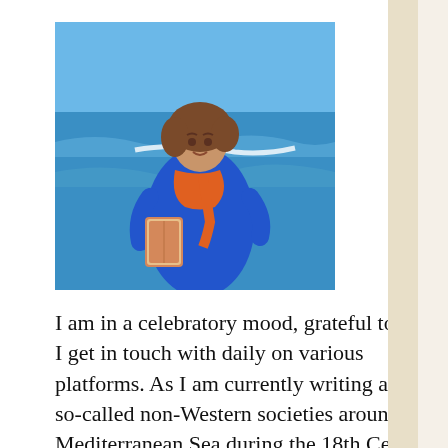[Figure (photo): Woman in blue dress and orange scarf standing outdoors near the ocean, holding a book. Blue sky and water visible in background.]
I am in a celebratory mood, grateful to those I get in touch with daily on various platforms. As I am currently writing about so-called non-Western societies around the Mediterranean Sea during the 18th Century, it is never too late to remind readers of the time period I am plotting about: the Enlightenment.
It's fun to dress with the colors of Eleonora and